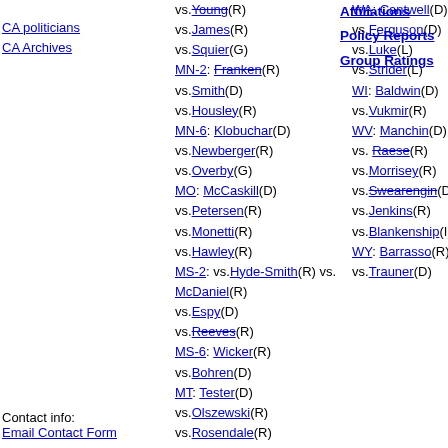CA politicians
CA Archives
vs. Young(R)
vs. James(R)
vs. Squier(G)
MN-2: Franken(R)
vs. Smith(D)
vs. Housley(R)
MN-6: Klobuchar(D)
vs. Newberger(R)
vs. Overby(G)
MO: McCaskill(D)
vs. Petersen(R)
vs. Monetti(R)
vs. Hawley(R)
MS-2: vs. Hyde-Smith(R) vs. McDaniel(R)
vs. Espy(D)
vs. Reeves(R)
MS-6: Wicker(R)
vs. Bohren(D)
MT: Tester(D)
vs. Olszewski(R)
vs. Rosendale(R)
WA: Cantwell(D)
vs. Ferguson(D)
vs. Luke(L)
vs. Strider(L)
WI: Baldwin(D)
vs. Vukmir(R)
WV: Manchin(D)
vs. Raese(R)
vs. Morrisey(R)
vs. Swearengin(D)
vs. Jenkins(R)
vs. Blankenship(I)
WY: Barrasso(R)
vs. Trauner(D)
Affiliations
Policy Reports
Group Ratings
Contact info:
Email Contact Form